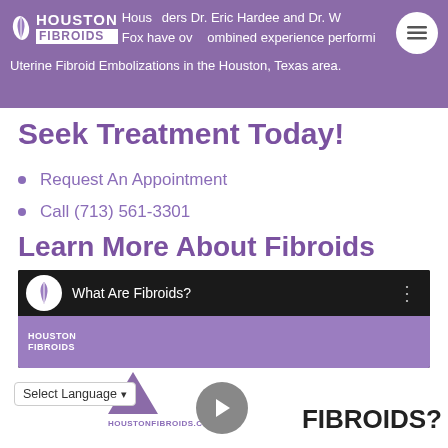Houston Fibroids founders Dr. Eric Hardee and Dr. W. Fox have over combined experience performing Uterine Fibroid Embolizations in the Houston, Texas area.
Uterine Fibroid Embolizations in the Houston, Texas area.
Seek Treatment Today!
Request An Appointment
Call (713) 561-3301
Learn More About Fibroids
[Figure (screenshot): Embedded YouTube video thumbnail showing 'What Are Fibroids?' with Houston Fibroids logo and video controls]
[Figure (screenshot): Bottom of page showing Houston Fibroids logo triangle, HOUSTONFIBROIDS.COM text, Select Language dropdown, play button, and partial WHAT ARE FIBROIDS? text]